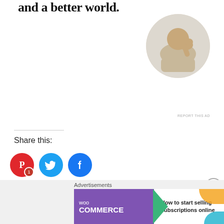and a better world.
[Figure (photo): Circular portrait photo of a man thinking, resting chin on hand]
REPORT THIS AD
Share this:
[Figure (infographic): Social share icons: Pinterest (red circle with P logo and badge 1), Twitter (blue circle with bird logo), Facebook (blue circle with f logo)]
Loading...
Related
Advertisements
[Figure (screenshot): WooCommerce advertisement banner: purple background with WooCommerce logo and arrow, white section with text 'How to start selling subscriptions online']